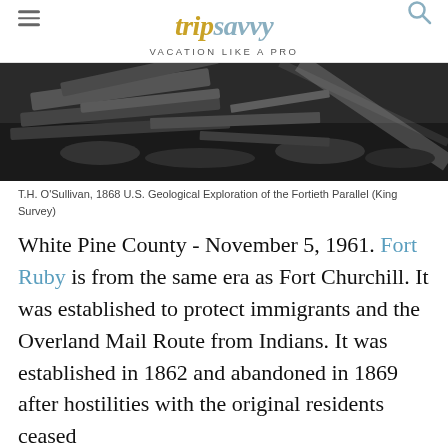trip savvy — VACATION LIKE A PRO
[Figure (photo): Black and white historical photograph showing wooden boards/logs on rocky terrain, from T.H. O'Sullivan, 1868 U.S. Geological Exploration of the Fortieth Parallel (King Survey)]
T.H. O'Sullivan, 1868 U.S. Geological Exploration of the Fortieth Parallel (King Survey)
White Pine County - November 5, 1961. Fort Ruby is from the same era as Fort Churchill. It was established to protect immigrants and the Overland Mail Route from Indians. It was established in 1862 and abandoned in 1869 after hostilities with the original residents ceased
[Figure (other): Advertisement placeholder with dot pattern background]